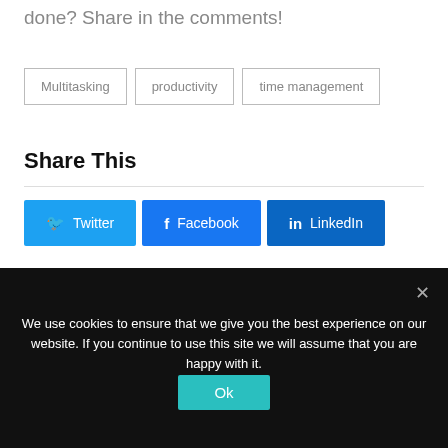done? Share in the comments!
Multitasking
productivity
time management
Share This
Twitter
Facebook
LinkedIn
Email
We use cookies to ensure that we give you the best experience on our website. If you continue to use this site we will assume that you are happy with it.
Ok